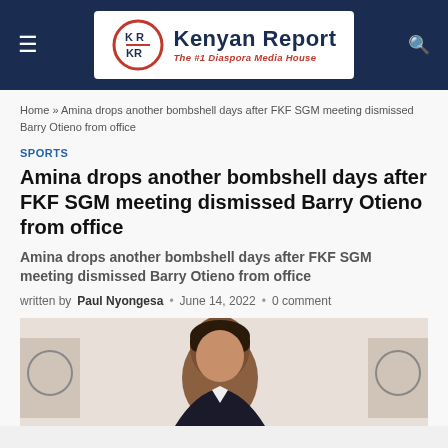Kenyan Report — The #1 Diaspora Media House
Home » Amina drops another bombshell days after FKF SGM meeting dismissed Barry Otieno from office
SPORTS
Amina drops another bombshell days after FKF SGM meeting dismissed Barry Otieno from office
Amina drops another bombshell days after FKF SGM meeting dismissed Barry Otieno from office
written by Paul Nyongesa • June 14, 2022 • 0 comment
[Figure (photo): Photo of a person at a press conference or official event with official logos/banners in the background]